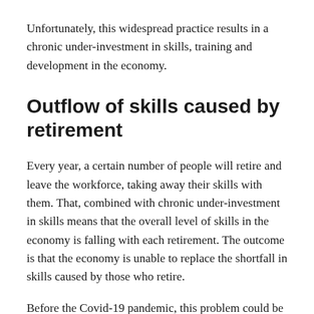Unfortunately, this widespread practice results in a chronic under-investment in skills, training and development in the economy.
Outflow of skills caused by retirement
Every year, a certain number of people will retire and leave the workforce, taking away their skills with them. That, combined with chronic under-investment in skills means that the overall level of skills in the economy is falling with each retirement. The outcome is that the economy is unable to replace the shortfall in skills caused by those who retire.
Before the Covid-19 pandemic, this problem could be